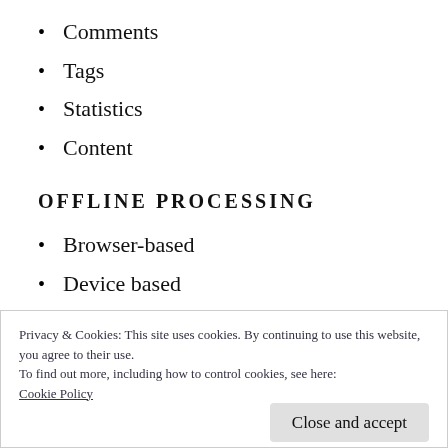Comments
Tags
Statistics
Content
OFFLINE PROCESSING
Browser-based
Device based
Offline archiving
Privacy & Cookies: This site uses cookies. By continuing to use this website, you agree to their use.
To find out more, including how to control cookies, see here:
Cookie Policy
Close and accept